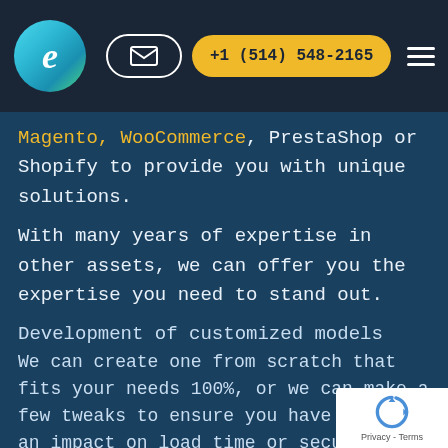e logo | email button | +1 (514) 548-2165 | hamburger menu
Magento, WooCommerce, PrestaShop or Shopify to provide you with unique solutions.
With many years of expertise in other assets, we can offer you the expertise you need to stand out.
Development of customized models
We can create one from scratch that fits your needs 100%, or we can make a few tweaks to ensure you have less of an impact on load time or security.
Development of extensions and modules
If you need custom plugins or modules to exte...